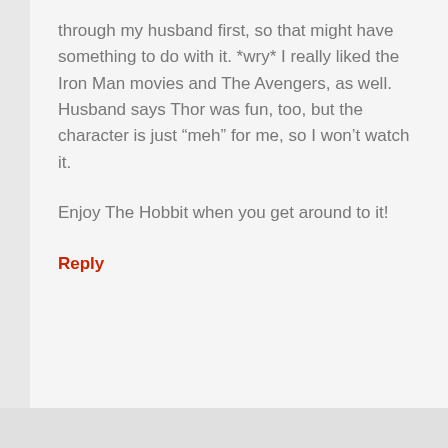through my husband first, so that might have something to do with it. *wry* I really liked the Iron Man movies and The Avengers, as well. Husband says Thor was fun, too, but the character is just “meh” for me, so I won’t watch it.
Enjoy The Hobbit when you get around to it!
Reply